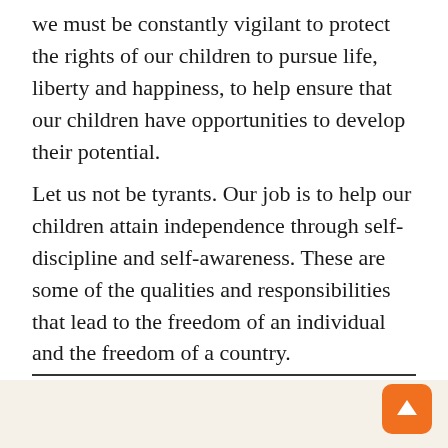we must be constantly vigilant to protect the rights of our children to pursue life, liberty and happiness, to help ensure that our children have opportunities to develop their potential.
Let us not be tyrants. Our job is to help our children attain independence through self-discipline and self-awareness. These are some of the qualities and responsibilities that lead to the freedom of an individual and the freedom of a country.
[Figure (illustration): Book cover image of 'Building Cathedrals Not Walls: Essays for Parents and Teachers' shown at an angle with the spine text visible on the left side, against a light beige background. An orange button with an upward arrow is visible in the bottom right corner.]